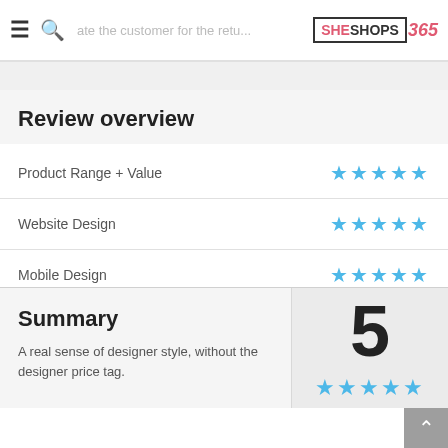SHESHOPS365 - ate the customer for the retu...
Review overview
| Category | Rating |
| --- | --- |
| Product Range + Value | ★★★★★ |
| Website Design | ★★★★★ |
| Mobile Design | ★★★★★ |
Summary
A real sense of designer style, without the designer price tag.
5 ★★★★★